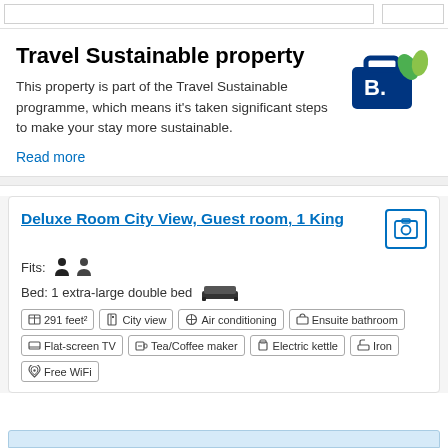Travel Sustainable property
This property is part of the Travel Sustainable programme, which means it's taken significant steps to make your stay more sustainable.
Read more
[Figure (logo): Booking.com Travel Sustainable badge with briefcase and green leaves]
Deluxe Room City View, Guest room, 1 King
Fits: [person icons x2]
Bed: 1 extra-large double bed [bed icon]
291 feet²
City view
Air conditioning
Ensuite bathroom
Flat-screen TV
Tea/Coffee maker
Electric kettle
Iron
Free WiFi